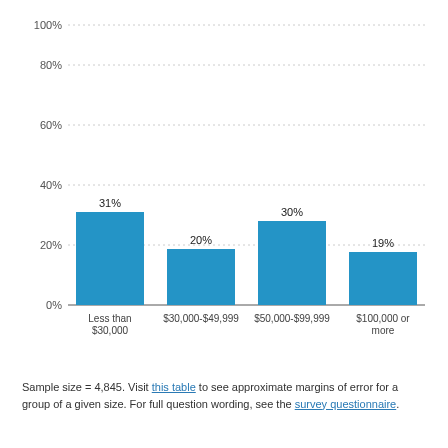[Figure (bar-chart): ]
Sample size = 4,845. Visit this table to see approximate margins of error for a group of a given size. For full question wording, see the survey questionnaire.